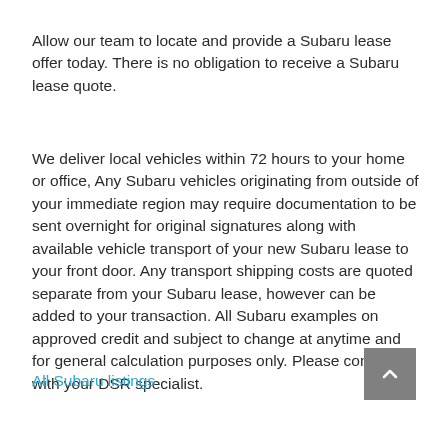Allow our team to locate and provide a Subaru lease offer today. There is no obligation to receive a Subaru lease quote.
We deliver local vehicles within 72 hours to your home or office, Any Subaru vehicles originating from outside of your immediate region may require documentation to be sent overnight for original signatures along with available vehicle transport of your new Subaru lease to your front door. Any transport shipping costs are quoted separate from your Subaru lease, however can be added to your transaction. All Subaru examples on approved credit and subject to change at anytime and for general calculation purposes only. Please consult with your DSR specialist.
All Subaru listings